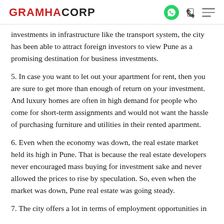GRAMHACORP
investments in infrastructure like the transport system, the city has been able to attract foreign investors to view Pune as a promising destination for business investments.
5. In case you want to let out your apartment for rent, then you are sure to get more than enough of return on your investment. And luxury homes are often in high demand for people who come for short-term assignments and would not want the hassle of purchasing furniture and utilities in their rented apartment.
6. Even when the economy was down, the real estate market held its high in Pune. That is because the real estate developers never encouraged mass buying for investment sake and never allowed the prices to rise by speculation. So, even when the market was down, Pune real estate was going steady.
7. The city offers a lot in terms of employment opportunities in